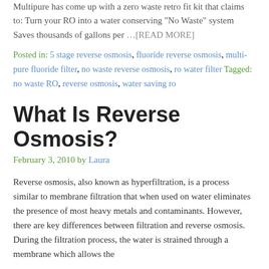Multipure has come up with a zero waste retro fit kit that claims to: Turn your RO into a water conserving "No Waste" system Saves thousands of gallons per ...[READ MORE]
Posted in: 5 stage reverse osmosis, fluoride reverse osmosis, multi-pure fluoride filter, no waste reverse osmosis, ro water filter Tagged: no waste RO, reverse osmosis, water saving ro
What Is Reverse Osmosis?
February 3, 2010 by Laura
Reverse osmosis, also known as hyperfiltration, is a process similar to membrane filtration that when used on water eliminates the presence of most heavy metals and contaminants. However, there are key differences between filtration and reverse osmosis. During the filtration process, the water is strained through a membrane which allows the